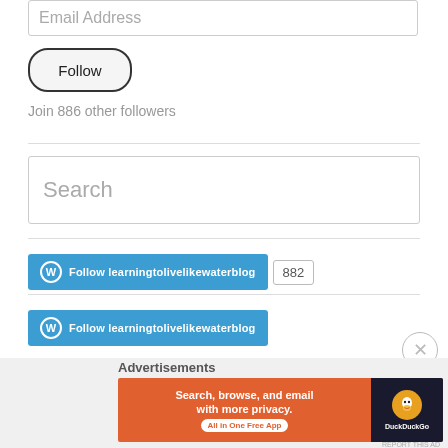Email Address
Follow
Join 886 other followers
Search
[Figure (screenshot): WordPress Follow button for learningtolivelikewaterblog with follower count 882]
[Figure (screenshot): WordPress Follow button for learningtolivelikewaterblog]
Advertisements
[Figure (screenshot): DuckDuckGo advertisement banner: Search, browse, and email with more privacy. All in One Free App]